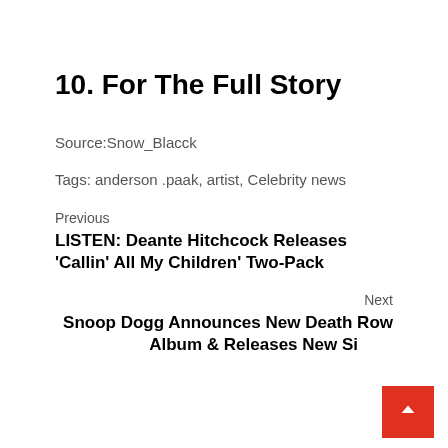10. For The Full Story
Source:Snow_Blacck
Tags: anderson .paak, artist, Celebrity news
Previous
LISTEN: Deante Hitchcock Releases 'Callin' All My Children' Two-Pack
Next
Snoop Dogg Announces New Death Row Album & Releases New Single